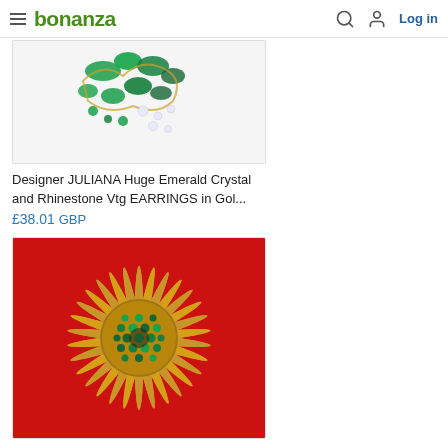bonanza | Log in
[Figure (photo): Green emerald crystal and rhinestone vintage earrings on white background, partially cropped at top]
Designer JULIANA Huge Emerald Crystal and Rhinestone Vtg EARRINGS in Gol...
£38.01 GBP
[Figure (photo): Gold sunburst brooch with green rhinestone center on red background]